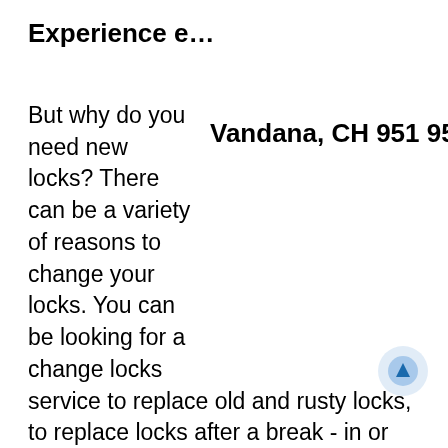Experience e…
[Figure (other): Tooltip or popup overlay showing bold text: 'Vandana, CH 951 957 3188']
But why do you need new locks? There can be a variety of reasons to change your locks. You can be looking for a change locks service to replace old and rusty locks, to replace locks after a break - in or break - in attempt, to change locks after a tenant has left your apartment, etc. Golden Locksmith Services strongly advises all its customers whenever they are planning to replace locks at their property, always go for complex locking systems that are hard to penetrate. The enhanced security that these locks provide not only make you feel safe but also keeps out